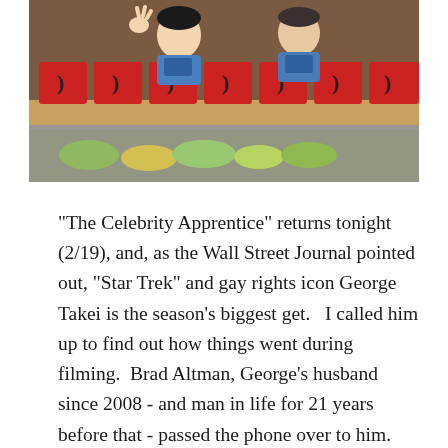[Figure (photo): Two people standing behind a deli/food service counter with multiple red-packaged food boxes arranged in a row in front of them. One person is making a hand gesture. Food items visible in display case below.]
"The Celebrity Apprentice" returns tonight (2/19), and, as the Wall Street Journal pointed out, "Star Trek" and gay rights icon George Takei is the season's biggest get.   I called him up to find out how things went during filming.  Brad Altman, George's husband since 2008 - and man in life for 21 years before that - passed the phone over to him.